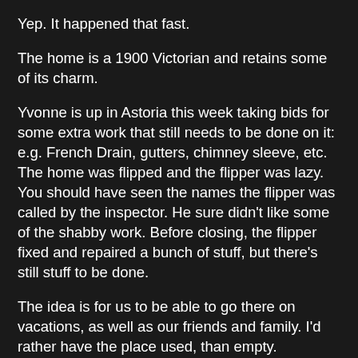Yep.  It happened that fast.
The home is a 1900 Victorian and retains some of its charm.
Yvonne is up in Astoria this week taking bids for some extra work that still needs to be done on it: e.g. French Drain, gutters, chimney sleeve, etc. The home was flipped and the flipper was lazy. You should have seen the names the flipper was called by the inspector. He sure didn't like some of the shabby work. Before closing, the flipper fixed and repaired a bunch of stuff, but there's still stuff to be done.
The idea is for us to be able to go there on vacations, as well as our friends and family. I'd rather have the place used, than empty.
Why call it LaGrange house? We have some great friends named Herb and Diane who have a home on the Potomac everyone affectionately calls Cedar Lodge. Far from a lodge, this sprawling manse could house a battalion. Originally built in the 1700s, it's been added on to over the years and is just